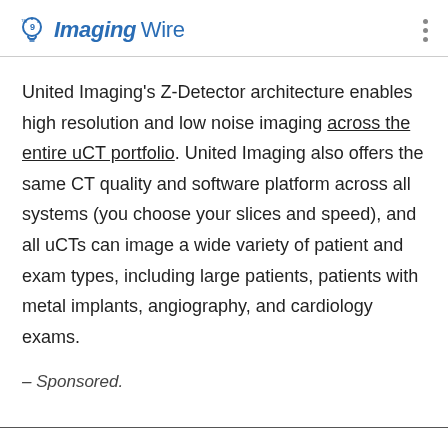The Imaging Wire
United Imaging's Z-Detector architecture enables high resolution and low noise imaging across the entire uCT portfolio. United Imaging also offers the same CT quality and software platform across all systems (you choose your slices and speed), and all uCTs can image a wide variety of patient and exam types, including large patients, patients with metal implants, angiography, and cardiology exams.
– Sponsored.